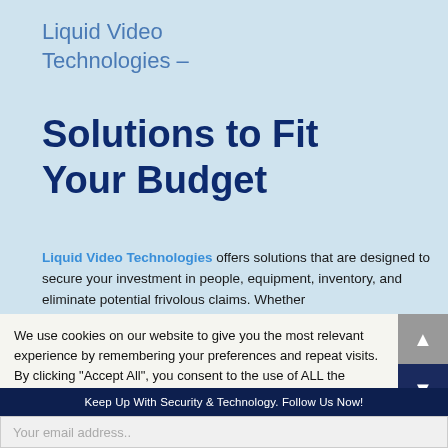Liquid Video Technologies –
Solutions to Fit Your Budget
Liquid Video Technologies offers solutions that are designed to secure your investment in people, equipment, inventory, and eliminate potential frivolous claims. Whether
We use cookies on our website to give you the most relevant experience by remembering your preferences and repeat visits. By clicking "Accept All", you consent to the use of ALL the cookies. However, you may visit "Cookie Settings" to
Keep Up With Security & Technology. Follow Us Now!
Your email address..
Subscribe